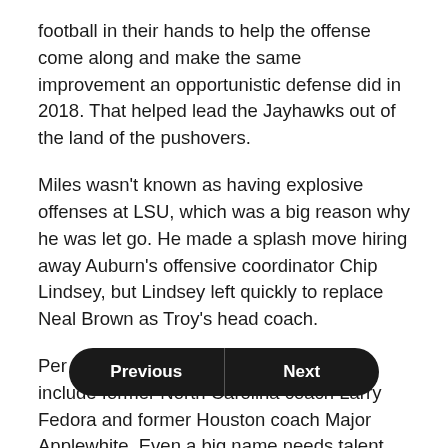football in their hands to help the offense come along and make the same improvement an opportunistic defense did in 2018. That helped lead the Jayhawks out of the land of the pushovers.
Miles wasn't known as having explosive offenses at LSU, which was a big reason why he was let go. He made a splash move hiring away Auburn's offensive coordinator Chip Lindsey, but Lindsey left quickly to replace Neal Brown as Troy's head coach.
Per Newell, the replacements list could include former North Carolina coach Larry Fedora and former Houston coach Major Applewhite. Even a big name needs talent with which to work, though.
Potential playm[Previous][Next]back Thomas MacVittie and returning receivers Stephon Robinson and